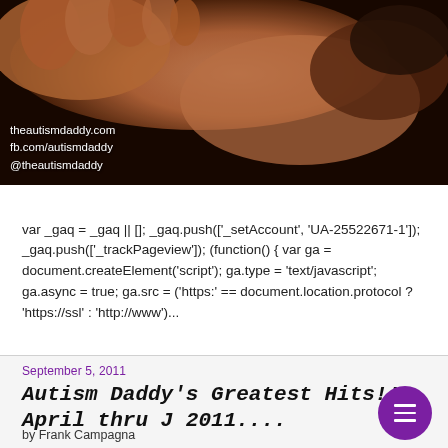[Figure (photo): Close-up photo of baby feet and hands being held, with warm reddish-brown tones. Watermark text reads: theautismdaddy.com, fb.com/autismdaddy, @theautismdaddy]
var _gaq = _gaq || []; _gaq.push(['_setAccount', 'UA-25522671-1']); _gaq.push(['_trackPageview']); (function() { var ga = document.createElement('script'); ga.type = 'text/javascript'; ga.async = true; ga.src = ('https:' == document.location.protocol ? 'https://ssl' : 'http://www')...
September 5, 2011
Autism Daddy's Greatest Hits!! April thru J 2011....
by Frank Campagna